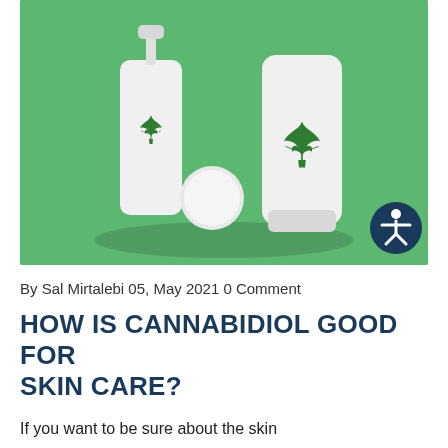[Figure (photo): Three white skincare product containers (pump bottle, tube cap, and squeeze tube) with green cannabis/hemp leaf logos on a green background. An accessibility icon (person in circle) is visible in the bottom right corner of the image.]
By Sal Mirtalebi 05, May 2021 0 Comment
HOW IS CANNABIDIOL GOOD FOR SKIN CARE?
If you want to be sure about the skin